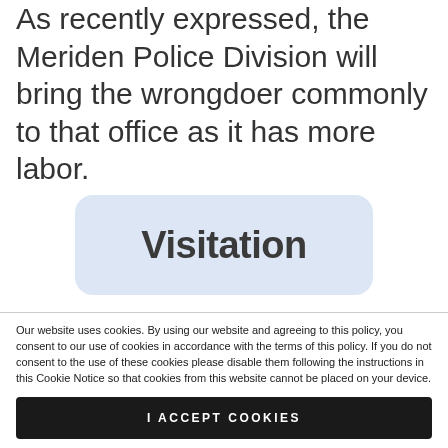As recently expressed, the Meriden Police Division will bring the wrongdoer commonly to that office as it has more labor.
Visitation
Our website uses cookies. By using our website and agreeing to this policy, you consent to our use of cookies in accordance with the terms of this policy. If you do not consent to the use of these cookies please disable them following the instructions in this Cookie Notice so that cookies from this website cannot be placed on your device.
I ACCEPT COOKIES